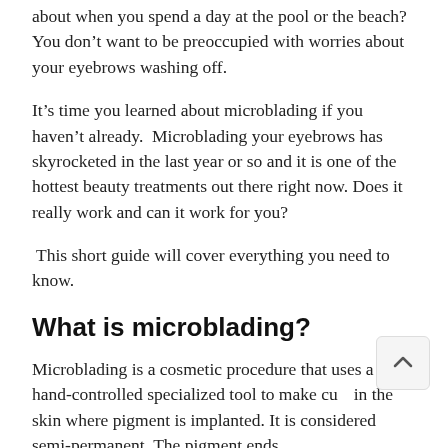about when you spend a day at the pool or the beach? You don't want to be preoccupied with worries about your eyebrows washing off.
It's time you learned about microblading if you haven't already. Microblading your eyebrows has skyrocketed in the last year or so and it is one of the hottest beauty treatments out there right now. Does it really work and can it work for you?
This short guide will cover everything you need to know.
What is microblading?
Microblading is a cosmetic procedure that uses a hand-controlled specialized tool to make cuts in the skin where pigment is implanted. It is considered semi-permanent. The pigment ends